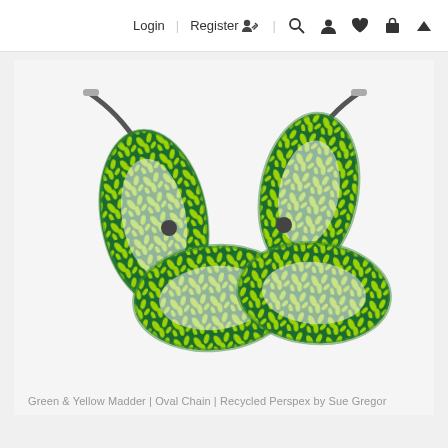Login | Register 🧑✏ 🔍 👤 ♥ 🛒 ▲
[Figure (photo): Product photo of a necklace made of four large oval chain links in dark green with bright yellow-green leaf/botanical print pattern, connected by dark grey cord with silver tube clasps. Green & Yellow Madder | Oval Chain | Recycled Perspex by Sue Gregor]
Green & Yellow Madder | Oval Chain | Recycled Perspex by Sue Gregor